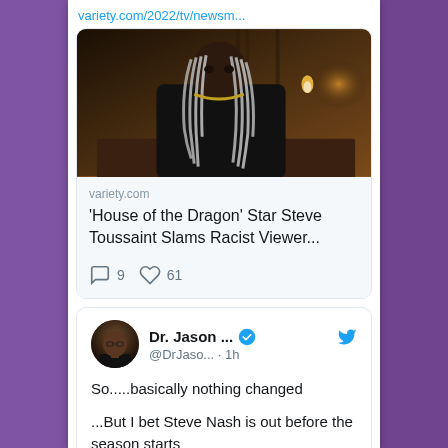variety.com/2022/tv/newsm...
[Figure (photo): Photo of actor Steve Toussaint as Corlys Velaryon from House of the Dragon, wearing dark medieval costume with long silver dreadlocks, seated at a table in a dimly lit hall]
variety.com
'House of the Dragon' Star Steve Toussaint Slams Racist Viewer...
9 comments, 61 likes
Dr. Jason ... @DrJaso... · 1h
So.....basically nothing changed

...But I bet Steve Nash is out before the season starts